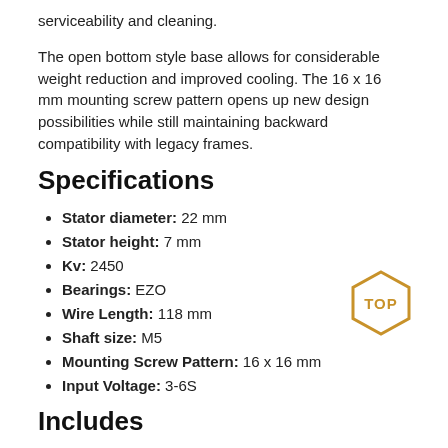serviceability and cleaning.
The open bottom style base allows for considerable weight reduction and improved cooling. The 16 x 16 mm mounting screw pattern opens up new design possibilities while still maintaining backward compatibility with legacy frames.
Specifications
Stator diameter: 22 mm
Stator height: 7 mm
Kv: 2450
Bearings: EZO
Wire Length: 118 mm
Shaft size: M5
Mounting Screw Pattern: 16 x 16 mm
Input Voltage: 3-6S
[Figure (logo): Hexagonal TOP badge in gold/amber color with the text TOP inside]
Includes